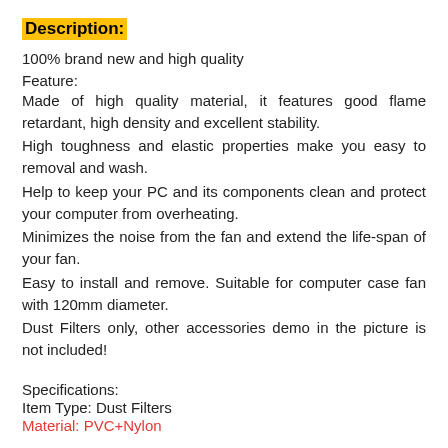Description:
100% brand new and high quality
Feature:
Made of high quality material, it features good flame retardant, high density and excellent stability.
High toughness and elastic properties make you easy to removal and wash.
Help to keep your PC and its components clean and protect your computer from overheating.
Minimizes the noise from the fan and extend the life-span of your fan.
Easy to install and remove. Suitable for computer case fan with 120mm diameter.
Dust Filters only, other accessories demo in the picture is not included!
Specifications:
Item Type: Dust Filters
Material: PVC+Nylon